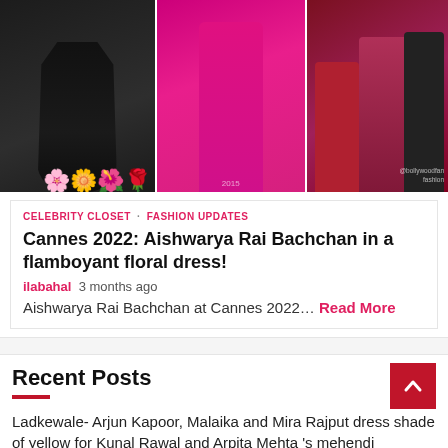[Figure (photo): Three-panel photo strip: left panel shows a woman in a black floral gown on a red carpet, center panel shows a woman in a bright pink/magenta pantsuit outdoors, right panel shows a group with a woman in a red dress and another in a pink sequined gown with a man in a suit.]
CELEBRITY CLOSET · FASHION UPDATES
Cannes 2022: Aishwarya Rai Bachchan in a flamboyant floral dress!
ilabahal  3 months ago
Aishwarya Rai Bachchan at Cannes 2022… Read More
Recent Posts
Ladkewale- Arjun Kapoor, Malaika and Mira Rajput dress shade of yellow for Kunal Rawal and Arpita Mehta 's mehendi
Malaika Arora leads the style pack at…